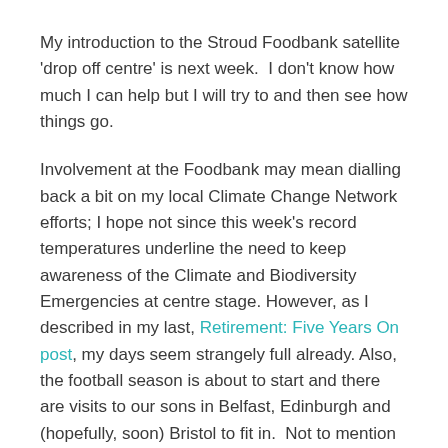My introduction to the Stroud Foodbank satellite 'drop off centre' is next week.  I don't know how much I can help but I will try to and then see how things go.
Involvement at the Foodbank may mean dialling back a bit on my local Climate Change Network efforts; I hope not since this week's record temperatures underline the need to keep awareness of the Climate and Biodiversity Emergencies at centre stage. However, as I described in my last, Retirement: Five Years On post, my days seem strangely full already. Also, the football season is about to start and there are visits to our sons in Belfast, Edinburgh and (hopefully, soon) Bristol to fit in.  Not to mention the squeezing in of Mens' Mental Fitness evenings!